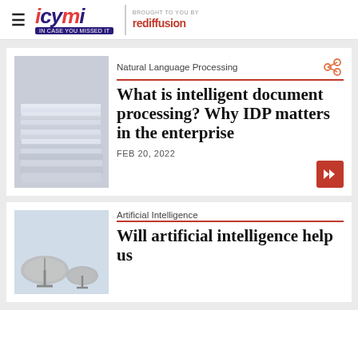icymi — brought to you by rediffusion
Natural Language Processing
What is intelligent document processing? Why IDP matters in the enterprise
FEB 20, 2022
Artificial Intelligence
Will artificial intelligence help us